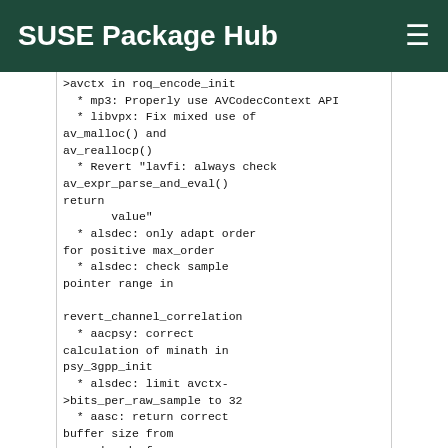SUSE Package Hub
>avctx in roq_encode_init
  * mp3: Properly use AVCodecContext API
  * libvpx: Fix mixed use of av_malloc() and av_reallocp()
  * Revert "lavfi: always check av_expr_parse_and_eval() return
       value"
  * alsdec: only adapt order for positive max_order
  * alsdec: check sample pointer range in

revert_channel_correlation
  * aacpsy: correct calculation of minath in psy_3gpp_init
  * alsdec: limit avctx->bits_per_raw_sample to 32
  * aasc: return correct buffer size from aasc_decode_frame
  * matroskadec: fix crash when parsing invalid mkv
  * avconv: do not overwrite the stream codec context for
       streamcopy
  * webp: ensure that each transform is only used once
  * h264_ps: properly check cropping parameters against